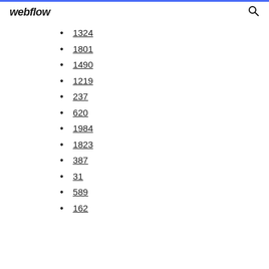webflow
1324
1801
1490
1219
237
620
1984
1823
387
31
589
162